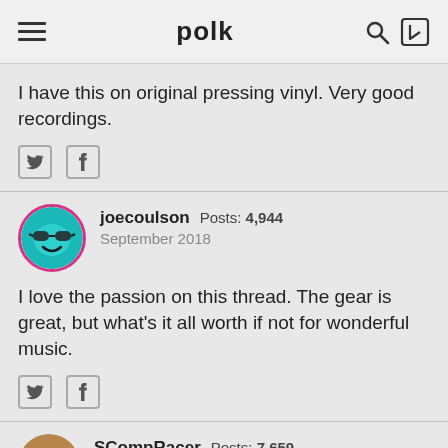polk
I have this on original pressing vinyl. Very good recordings.
joecoulson  Posts: 4,944  September 2018
I love the passion on this thread. The gear is great, but what's it all worth if not for wonderful music.
SCompRacer  Posts: 7,659  September 2018  edited September 2018